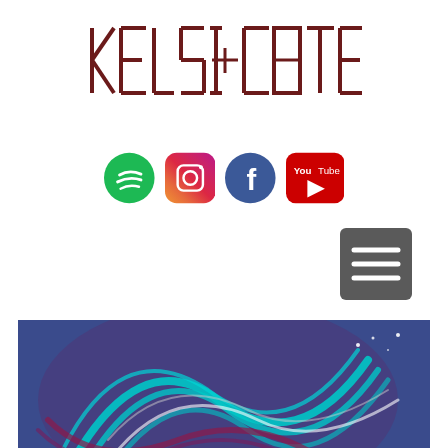[Figure (logo): KELSICOTE stylized art deco logo text in dark red/maroon color]
[Figure (infographic): Row of four social media icons: Spotify (green circle with sound waves), Instagram (gradient rounded square), Facebook (blue circle with f), YouTube (red rounded square with play button and You Tube text)]
[Figure (other): Dark gray rounded rectangle hamburger/menu button with three white horizontal lines]
[Figure (illustration): Colorful abstract swirling artwork with blue, teal, purple, maroon and white brush strokes in a spiral pattern, appears to be album artwork with partial cursive text at bottom]